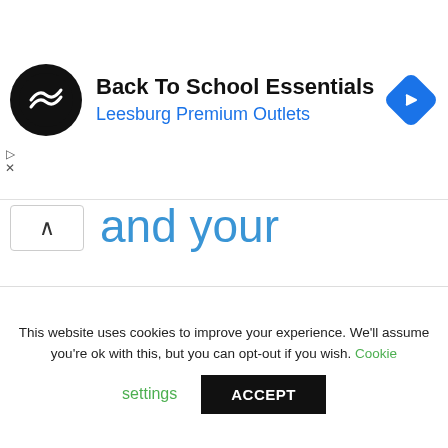[Figure (screenshot): Advertisement banner for 'Back To School Essentials' at Leesburg Premium Outlets, with a circular black logo with double arrow, text, and a blue navigation diamond icon. Play and close controls on left side.]
and your computer is completely dead? It won't turn on at all?
This website uses cookies to improve your experience. We'll assume you're ok with this, but you can opt-out if you wish. Cookie settings ACCEPT